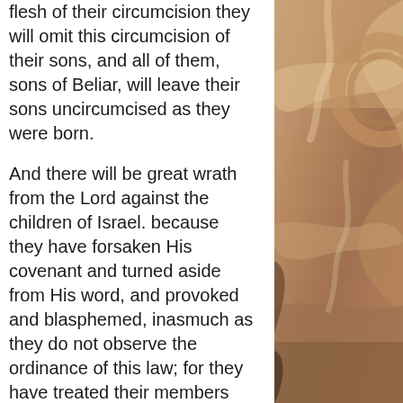flesh of their circumcision they will omit this circumcision of their sons, and all of them, sons of Beliar, will leave their sons uncircumcised as they were born.

And there will be great wrath from the Lord against the children of Israel. because they have forsaken His covenant and turned aside from His word, and provoked and blasphemed, inasmuch as they do not observe the ordinance of this law; for they have treated their members like the Gentiles, so that they may be removed and rooted out of the land. And there will no more be pardon or forgiveness unto them [so that there should be
[Figure (illustration): Decorative artistic illustration with warm brown, copper, and terracotta tones showing abstract swirling drapery or fabric forms.]